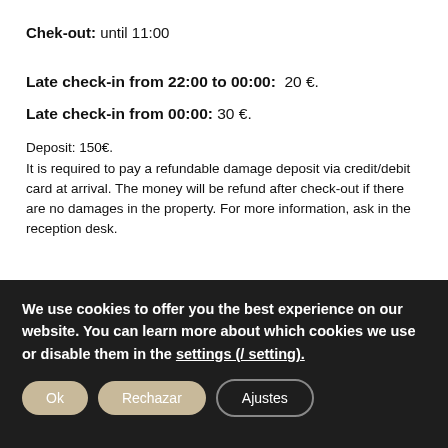Chek-out: until 11:00
Late check-in from 22:00 to 00:00:  20 €.
Late check-in from 00:00: 30 €.
Deposit: 150€.
It is required to pay a refundable damage deposit via credit/debit card at arrival. The money will be refund after check-out if there are no damages in the property. For more information, ask in the reception desk.
We use cookies to offer you the best experience on our website. You can learn more about which cookies we use or disable them in the settings (/ setting).